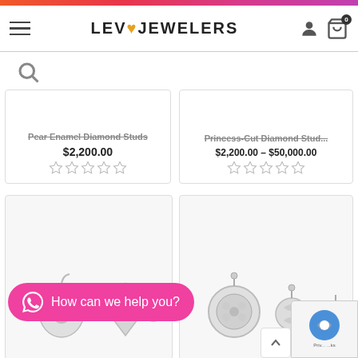[Figure (screenshot): Levo Jewelers website screenshot showing header with gradient bar, logo, hamburger menu, user and cart icons]
LEV♥JEWELERS
Pear Enamel Diamond Studs
$2,200.00
Princess-Cut Diamond Stud...
$2,200.00 – $50,000.00
How can we help you?